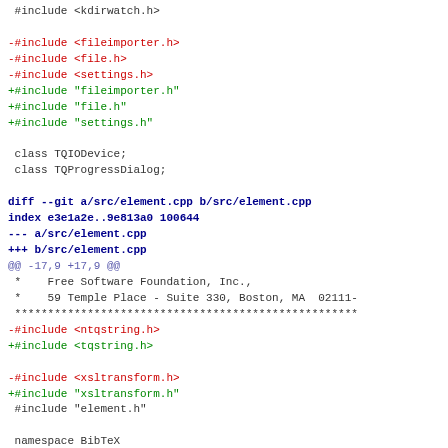#include <kdirwatch.h>
-#include <fileimporter.h>
-#include <file.h>
-#include <settings.h>
+#include "fileimporter.h"
+#include "file.h"
+#include "settings.h"
class TQIODevice;
 class TQProgressDialog;
diff --git a/src/element.cpp b/src/element.cpp
index e3e1a2e..9e813a0 100644
--- a/src/element.cpp
+++ b/src/element.cpp
@@ -17,9 +17,9 @@
 *    Free Software Foundation, Inc.,
 *    59 Temple Place - Suite 330, Boston, MA  02111-
 ****************************************************
-#include <ntqstring.h>
+#include <tqstring.h>
-#include <xsltransform.h>
+#include "xsltransform.h"
 #include "element.h"
namespace BibTeX